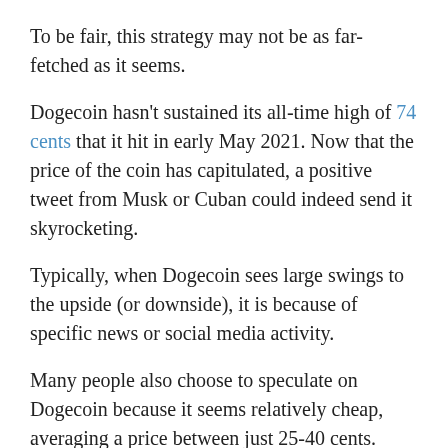To be fair, this strategy may not be as far-fetched as it seems.
Dogecoin hasn't sustained its all-time high of 74 cents that it hit in early May 2021. Now that the price of the coin has capitulated, a positive tweet from Musk or Cuban could indeed send it skyrocketing.
Typically, when Dogecoin sees large swings to the upside (or downside), it is because of specific news or social media activity.
Many people also choose to speculate on Dogecoin because it seems relatively cheap, averaging a price between just 25-40 cents.
Of course, most cryptocurrency exchanges allow you to purchase partial shares of crypto. So, you could just as easily buy $500 worth of Bitcoin (even though a whole Bitcoin is $30,000+) as you could buy $500 worth of Dogecoin.